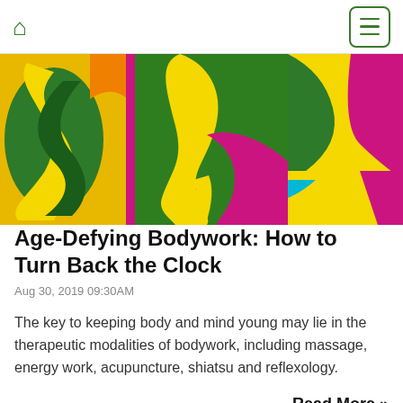Home | Menu
[Figure (illustration): Colorful abstract illustration with green, yellow, orange, magenta, and teal organic shapes, shown as three panels side by side.]
Age-Defying Bodywork: How to Turn Back the Clock
Aug 30, 2019 09:30AM
The key to keeping body and mind young may lie in the therapeutic modalities of bodywork, including massage, energy work, acupuncture, shiatsu and reflexology.
Read More »